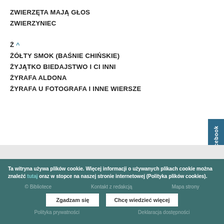ZWIERZĘTA MAJĄ GŁOS
ZWIERZYNIEC
Ż ^
ŻÓŁTY SMOK (BAŚNIE CHIŃSKIE)
ŻYJĄTKO BIEDAJSTWO I CI INNI
ŻYRAFA ALDONA
ŻYRAFA U FOTOGRAFA I INNE WIERSZE
Ta witryna używa plików cookie. Więcej informacji o używanych plikach cookie można znaleźć tutaj oraz w stopce na naszej stronie internetowej (Polityka plików cookies).
© Bibliotece   Kontakt z redakcją   Mapa strony
Zgadzam się   Chcę wiedzieć więcej
Polityka prywatności   Deklaracja dostępności